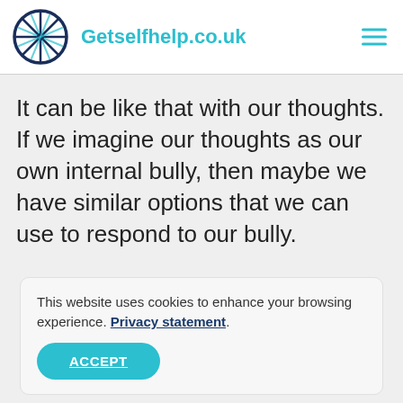Getselfhelp.co.uk
It can be like that with our thoughts.  If we imagine our thoughts as our own internal bully, then maybe we have similar options that we can use to respond to our bully.
This website uses cookies to enhance your browsing experience. Privacy statement.
ACCEPT